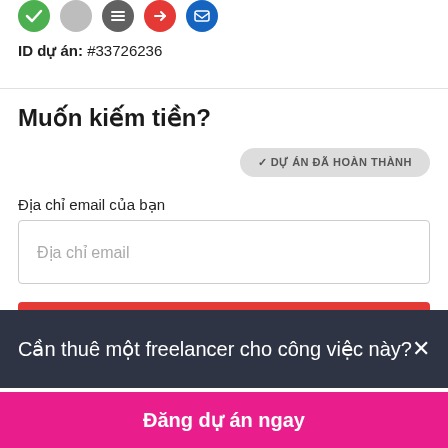[Figure (screenshot): Partial icon row at top of page showing green checkmark circle, gray icon circles, and colored icon circles]
ID dự án: #33726236
Muốn kiếm tiền?
✓ DỰ ÁN ĐÃ HOÀN THÀNH
Địa chỉ email của bạn
Địa chỉ email
Nộp đơn các công việc tương tự
Cần thuê một freelancer cho công việc này?×
Đăng dự án ngay